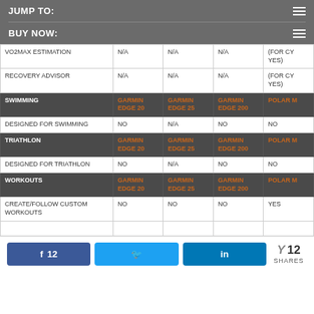JUMP TO:
BUY NOW:
|  | GARMIN EDGE 20 | GARMIN EDGE 25 | GARMIN EDGE 200 | POLAR M |
| --- | --- | --- | --- | --- |
| VO2MAX ESTIMATION | N/A | N/A | N/A | (FOR CY YES) |
| RECOVERY ADVISOR | N/A | N/A | N/A | (FOR CY YES) |
| SWIMMING | GARMIN EDGE 20 | GARMIN EDGE 25 | GARMIN EDGE 200 | POLAR M |
| DESIGNED FOR SWIMMING | NO | N/A | NO | NO |
| TRIATHLON | GARMIN EDGE 20 | GARMIN EDGE 25 | GARMIN EDGE 200 | POLAR M |
| DESIGNED FOR TRIATHLON | NO | N/A | NO | NO |
| WORKOUTS | GARMIN EDGE 20 | GARMIN EDGE 25 | GARMIN EDGE 200 | POLAR M |
| CREATE/FOLLOW CUSTOM WORKOUTS | NO | NO | NO | YES |
12 SHARES